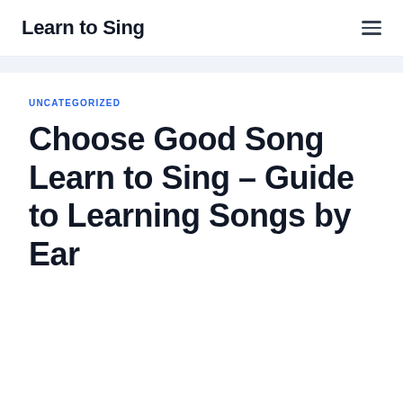Learn to Sing
UNCATEGORIZED
Choose Good Song Learn to Sing – Guide to Learning Songs by Ear